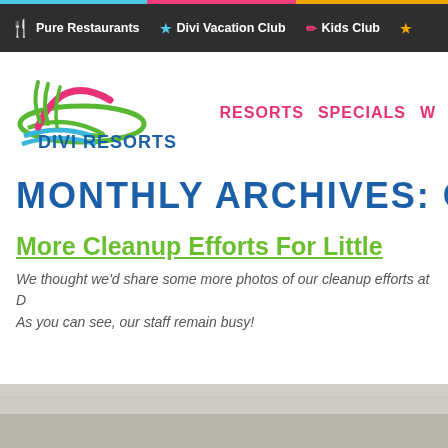Pure Restaurants | Divi Vacation Club | Kids Club
[Figure (logo): Divi Resorts logo with green wave/sun graphic and blue text]
RESORTS   SPECIALS   W
MONTHLY ARCHIVES: OCT
More Cleanup Efforts For Little
We thought we'd share some more photos of our cleanup efforts at D... As you can see, our staff remain busy!
[Figure (photo): Partial photo strip at the bottom of the page showing an outdoor/resort scene]